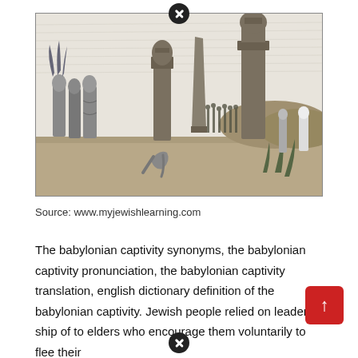[Figure (illustration): Black and white engraving depicting a Babylonian captivity scene: robed figures stand on the left, large stone statues in the background, a person kneeling on the ground in the foreground center, soldiers and crowds in the middle distance.]
Source: www.myjewishlearning.com
The babylonian captivity synonyms, the babylonian captivity pronunciation, the babylonian captivity translation, english dictionary definition of the babylonian captivity. Jewish people relied on leader ship of to elders who encourage them voluntarily to flee their